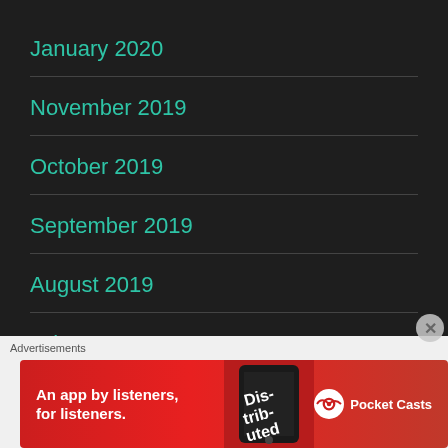January 2020
November 2019
October 2019
September 2019
August 2019
July 2019
June 2019
[Figure (infographic): Advertisement banner: Pocket Casts app ad with red background, text 'An app by listeners, for listeners.' and Pocket Casts logo with phone image showing 'Distributed' text]